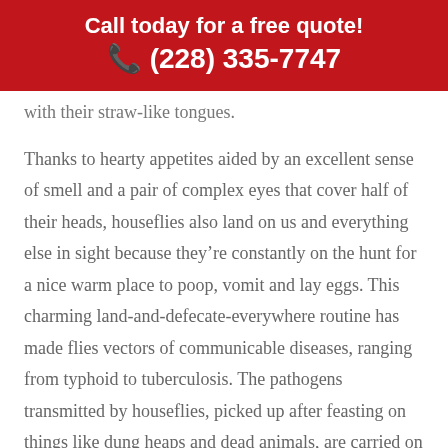Call today for a free quote!
📞 (228) 335-7747
with their straw-like tongues.
Thanks to hearty appetites aided by an excellent sense of smell and a pair of complex eyes that cover half of their heads, houseflies also land on us and everything else in sight because they're constantly on the hunt for a nice warm place to poop, vomit and lay eggs. This charming land-and-defecate-everywhere routine has made flies vectors of communicable diseases, ranging from typhoid to tuberculosis. The pathogens transmitted by houseflies, picked up after feasting on things like dung heaps and dead animals, are carried on their legs and around their mouths. Think about it: Each time a fly lands on your